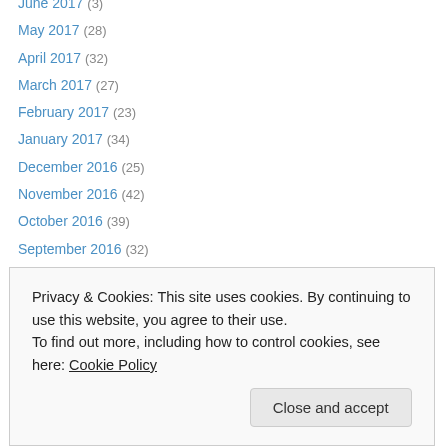June 2017 (3)
May 2017 (28)
April 2017 (32)
March 2017 (27)
February 2017 (23)
January 2017 (34)
December 2016 (25)
November 2016 (42)
October 2016 (39)
September 2016 (32)
August 2016 (26)
July 2016 (34)
June 2016 (41)
May 2016 (27)
November 2015 (27)
Privacy & Cookies: This site uses cookies. By continuing to use this website, you agree to their use. To find out more, including how to control cookies, see here: Cookie Policy